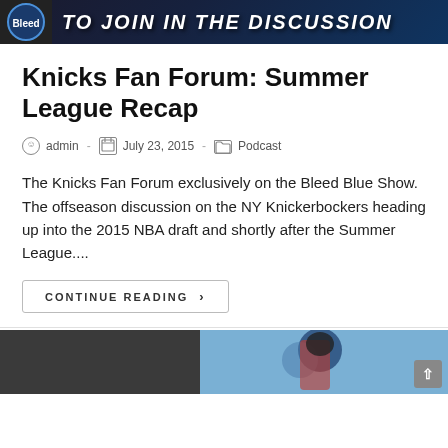[Figure (illustration): Banner image with a circular logo on the left and bold text reading 'TO JOIN IN THE DISCUSSION' on a dark background]
Knicks Fan Forum: Summer League Recap
admin  -  July 23, 2015  -  Podcast
The Knicks Fan Forum exclusively on the Bleed Blue Show.  The offseason discussion on the NY Knickerbockers heading up into the 2015 NBA draft and shortly after the Summer League....
Continue Reading  >
[Figure (photo): Partial banner image of a sports player at the bottom of the page]